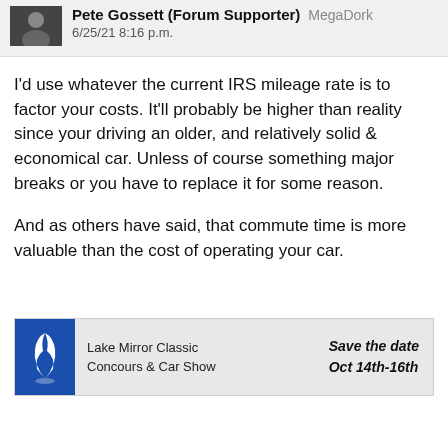Pete Gossett (Forum Supporter) MegaDork
6/25/21 8:16 p.m.
I'd use whatever the current IRS mileage rate is to factor your costs. It'll probably be higher than reality since your driving an older, and relatively solid & economical car. Unless of course something major breaks or you have to replace it for some reason.
And as others have said, that commute time is more valuable than the cost of operating your car.
[Figure (infographic): Lake Mirror Classic Concours & Car Show advertisement banner with blue logo featuring a white bird, text 'Save the date Oct 14th-16th']